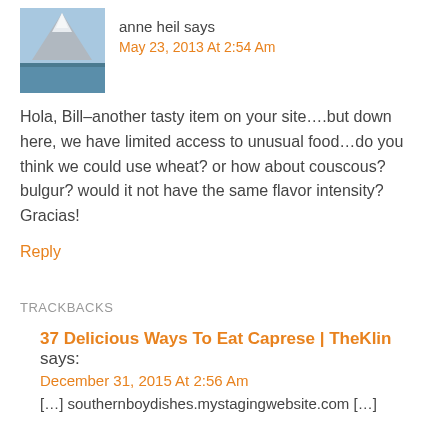[Figure (photo): Avatar photo showing a mountain with snow cap and water below, blue sky]
anne heil says
May 23, 2013 At 2:54 Am
Hola, Bill–another tasty item on your site….but down here, we have limited access to unusual food…do you think we could use wheat? or how about couscous? bulgur? would it not have the same flavor intensity? Gracias!
Reply
TRACKBACKS
37 Delicious Ways To Eat Caprese | TheKlin says:
December 31, 2015 At 2:56 Am
[…] southernboydishes.mystagingwebsite.com […]